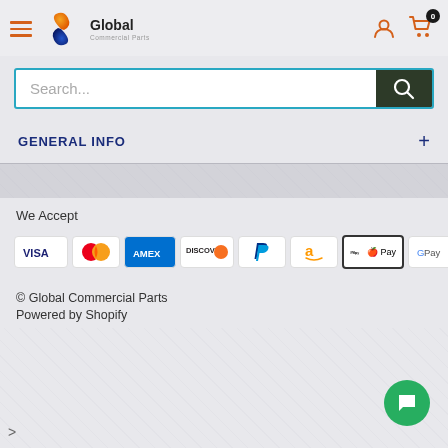Global Commercial Parts
Search...
GENERAL INFO
We Accept
[Figure (logo): Payment method logos: VISA, Mastercard, AMEX, Discover, PayPal, Amazon, Apple Pay, Google Pay]
© Global Commercial Parts
Powered by Shopify